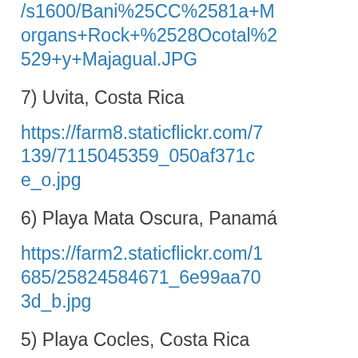/s1600/Bani%25CC%2581a+Morgans+Rock+%2528Ocotal%2529+y+Majagual.JPG
7) Uvita, Costa Rica
https://farm8.staticflickr.com/7139/7115045359_050af371ce_o.jpg
6) Playa Mata Oscura, Panamá
https://farm2.staticflickr.com/1685/25824584671_6e99aa703d_b.jpg
5) Playa Cocles, Costa Rica